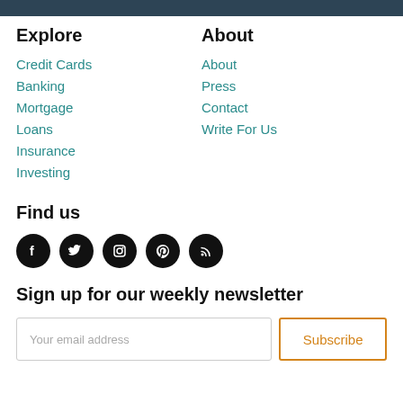Explore
Credit Cards
Banking
Mortgage
Loans
Insurance
Investing
About
About
Press
Contact
Write For Us
Find us
[Figure (illustration): Five social media icons (Facebook, Twitter, Instagram, Pinterest, RSS) as white icons on black circles]
Sign up for our weekly newsletter
Your email address
Subscribe